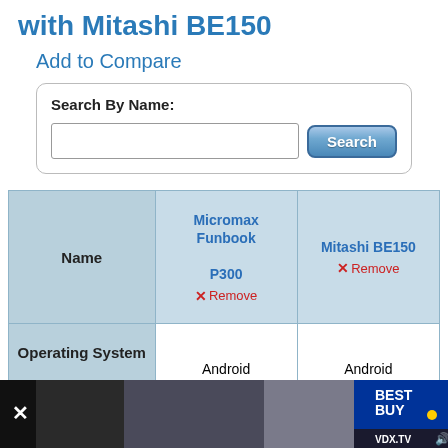with Mitashi BE150
Add to Compare
| Name | Micromax Funbook P300 | Mitashi BE150 |
| --- | --- | --- |
| Name | Micromax Funbook P300 ✕ Remove | Mitashi BE150 ✕ Remove |
| Operating System Type: | Android | Android |
[Figure (screenshot): Advertisement banner at the bottom showing Best Buy and VDX.TV ads]